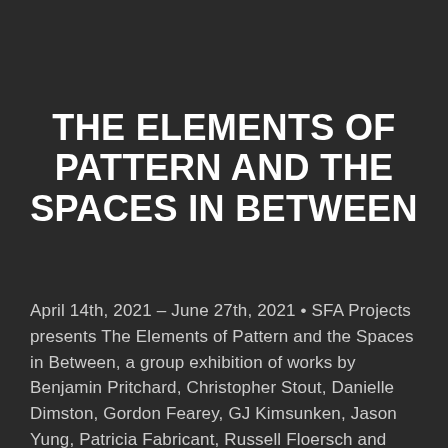THE ELEMENTS OF PATTERN AND THE SPACES IN BETWEEN
April 14th, 2021 – June 27th, 2021 • SFA Projects presents The Elements of Pattern and the Spaces in Between, a group exhibition of works by Benjamin Pritchard, Christopher Stout, Danielle Dimston, Gordon Fearey, GJ Kimsunken, Jason Yung, Patricia Fabricant, Russell Floersch and Sirikul Pattachote. (New York, NY)